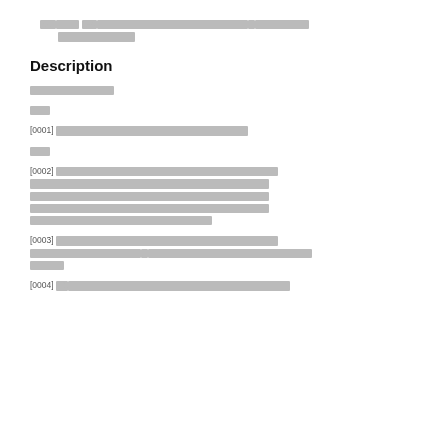5. [redacted] 1-4 [redacted]: [redacted] [redacted]
Description
[redacted]
[redacted]
[0001] [redacted]
[redacted]
[0002] [redacted]
[0003] [redacted]
[0004] [redacted] 1 [redacted]